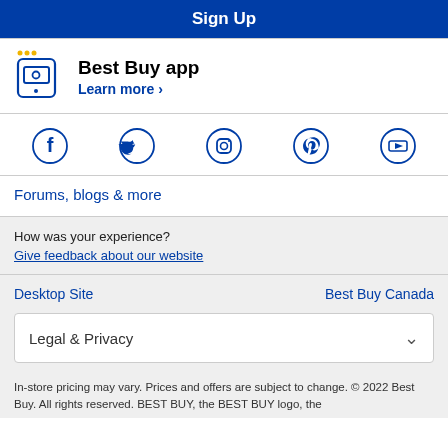Sign Up
[Figure (logo): Best Buy app icon with wallet/phone illustration]
Best Buy app
Learn more ›
[Figure (illustration): Social media icons row: Facebook, Twitter, Instagram, Pinterest, YouTube]
Forums, blogs & more
How was your experience?
Give feedback about our website
Desktop Site
Best Buy Canada
Legal & Privacy
In-store pricing may vary. Prices and offers are subject to change. © 2022 Best Buy. All rights reserved. BEST BUY, the BEST BUY logo, the